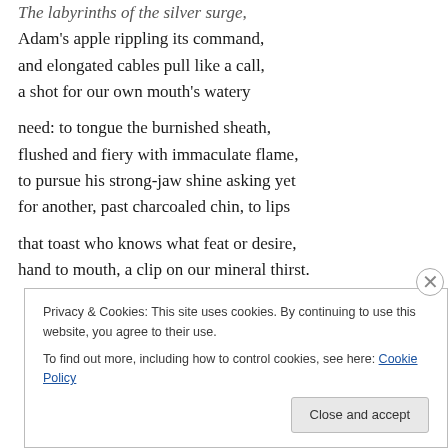The labyrinths of the silver surge,
Adam's apple rippling its command,
and elongated cables pull like a call,
a shot for our own mouth's watery
need: to tongue the burnished sheath,
flushed and fiery with immaculate flame,
to pursue his strong-jaw shine asking yet
for another, past charcoaled chin, to lips
that toast who knows what feat or desire,
hand to mouth, a clip on our mineral thirst.
Privacy & Cookies: This site uses cookies. By continuing to use this website, you agree to their use.
To find out more, including how to control cookies, see here: Cookie Policy